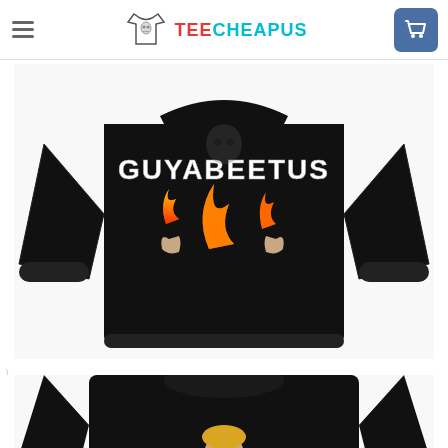[Figure (screenshot): TeeCheapus website header with hamburger menu, logo with t-shirt icon and skull, and shopping cart button]
[Figure (photo): Black sweatshirt product photo showing front with 'GUYABEETUS' text and flames graphic with hands]
[Figure (photo): Black sweatshirt product photo showing back/alternate view with small face graphic on chest]